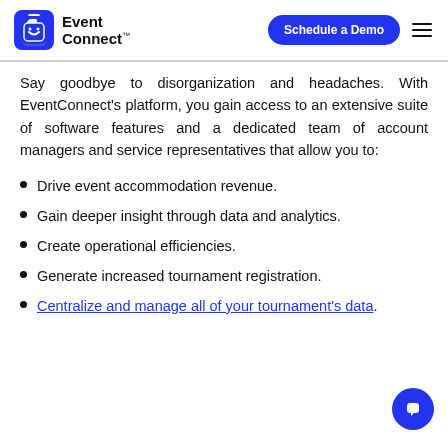[Figure (logo): EventConnect logo with blue smiley tag icon and bold EventConnect text with TM mark]
Say goodbye to disorganization and headaches. With EventConnect's platform, you gain access to an extensive suite of software features and a dedicated team of account managers and service representatives that allow you to:
Drive event accommodation revenue.
Gain deeper insight through data and analytics.
Create operational efficiencies.
Generate increased tournament registration.
Centralize and manage all of your tournament's data.